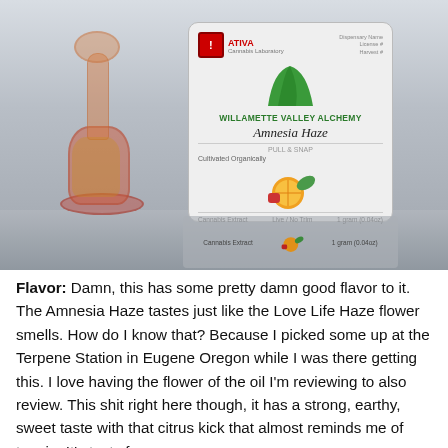[Figure (photo): Product photo showing a glass dab rig with amber oil alongside a Willamette Valley Alchemy Amnesia Haze cannabis extract package (1 gram / 0.04oz), with the package reflected on the surface below.]
Flavor: Damn, this has some pretty damn good flavor to it. The Amnesia Haze tastes just like the Love Life Haze flower smells. How do I know that? Because I picked some up at the Terpene Station in Eugene Oregon while I was there getting this. I love having the flower of the oil I'm reviewing to also review. This shit right here though, it has a strong, earthy, sweet taste with that citrus kick that almost reminds me of tangie. It's tasty for sure.
High: The buzz this Amnesia Haze packs is pretty solid. 70% THC is a great number for a pull and snap type of consistency. It means there's still enough